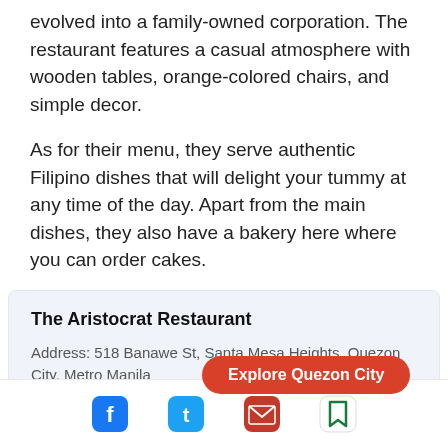evolved into a family-owned corporation. The restaurant features a casual atmosphere with wooden tables, orange-colored chairs, and simple decor.
As for their menu, they serve authentic Filipino dishes that will delight your tummy at any time of the day. Apart from the main dishes, they also have a bakery here where you can order cakes.
The Aristocrat Restaurant
Address: 518 Banawe St, Santa Mesa Heights, Quezon City, Metro Manila
Website: The Aristocrat Restaurant
Opening hours: 7a...
[Figure (infographic): Red rounded button labeled 'Explore Quezon City']
[Figure (infographic): Bottom footer bar with social icons: Facebook (blue), Twitter (blue), Email (red envelope), Bookmark (green outline)]